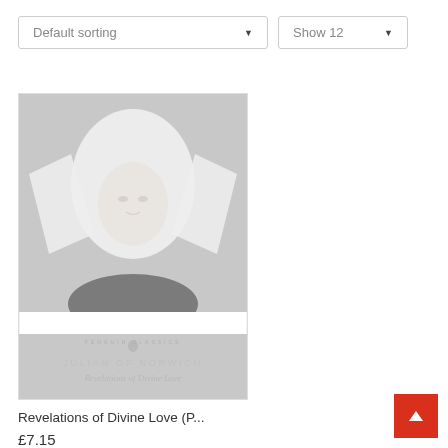Default sorting
Show 12
[Figure (illustration): Book cover of 'Revelations of Divine Love' by Julian of Norwich, Penguin Classics edition. The cover features a pale, faded portrait of a woman in a white headdress against a grey background, with the author name and title printed in the lower portion.]
Revelations of Divine Love (P...
£7.15